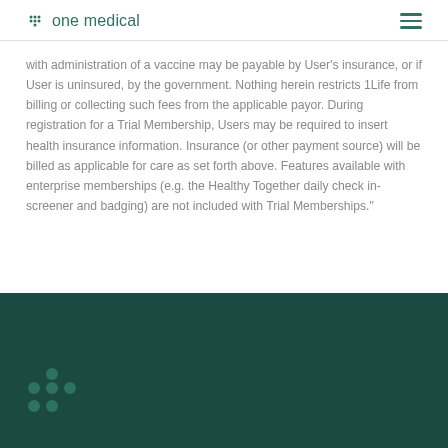one medical
with administration of a vaccine may be payable by User's insurance, or if User is uninsured, by the government. Nothing herein restricts 1Life from billing or collecting such fees from the applicable payor. During registration for a Trial Membership, Users may be required to insert health insurance information. Insurance (or other payment source) will be billed as applicable for care as set forth above. Features available with enterprise memberships (e.g. the Healthy Together daily check in-screener and badging) are not included with Trial Memberships."
[Figure (logo): One Medical logo mark (dots pattern) in teal on dark teal footer background]